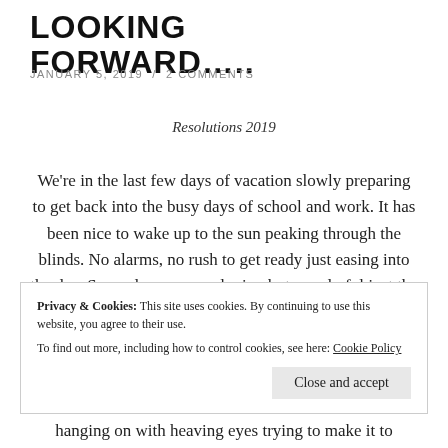LOOKING FORWARD…..
JANUARY 5, 2019 / 2 COMMENTS
Resolutions 2019
We're in the last few days of vacation slowly preparing to get back into the busy days of school and work. It has been nice to wake up to the sun peaking through the blinds. No alarms, no rush to get ready just easing into the day. Some days grey and rainy but wonderful just the same. It has been nice binge watching new and old television shows
Privacy & Cookies: This site uses cookies. By continuing to use this website, you agree to their use.
To find out more, including how to control cookies, see here: Cookie Policy
hanging on with heaving eyes trying to make it to